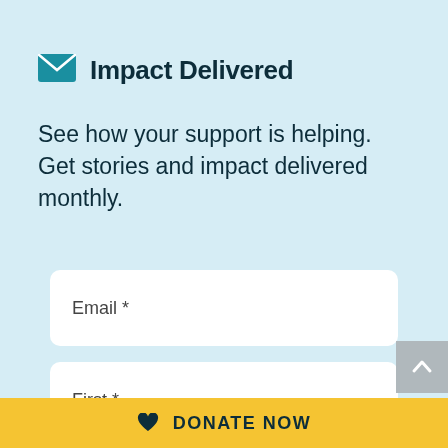Impact Delivered
See how your support is helping. Get stories and impact delivered monthly.
Email *
First *
♥ DONATE NOW